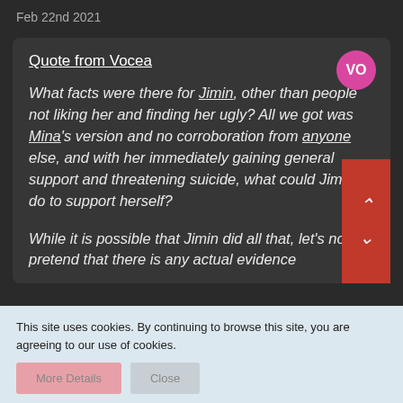Feb 22nd 2021
Quote from Vocea
What facts were there for Jimin, other than people not liking her and finding her ugly? All we got was Mina's version and no corroboration from anyone else, and with her immediately gaining general support and threatening suicide, what could Jimin do to support herself?
While it is possible that Jimin did all that, let's not pretend that there is any actual evidence
This site uses cookies. By continuing to browse this site, you are agreeing to our use of cookies.